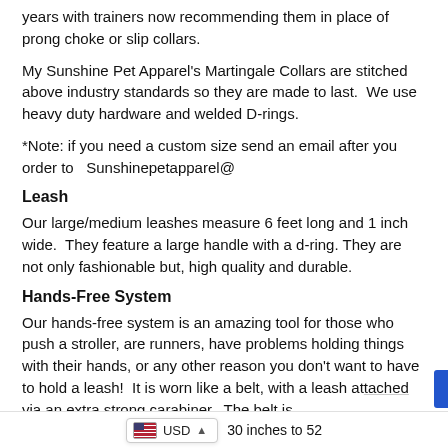Martingale collars have gained popularity in recent years with trainers now recommending them in place of prong choke or slip collars.
My Sunshine Pet Apparel's Martingale Collars are stitched above industry standards so they are made to last.  We use heavy duty hardware and welded D-rings.
*Note: if you need a custom size send an email after you order to  Sunshinepetapparel@
Leash
Our large/medium leashes measure 6 feet long and 1 inch wide.  They feature a large handle with a d-ring.  They are not only fashionable but, high quality and durable.
Hands-Free System
Our hands-free system is an amazing tool for those who push a stroller, are runners, have problems holding things with their hands, or any other reason you don't want to have to hold a leash!  It is worn like a belt, with a leash attached via an extra strong carabiner.  The belt is 30 inches to 52